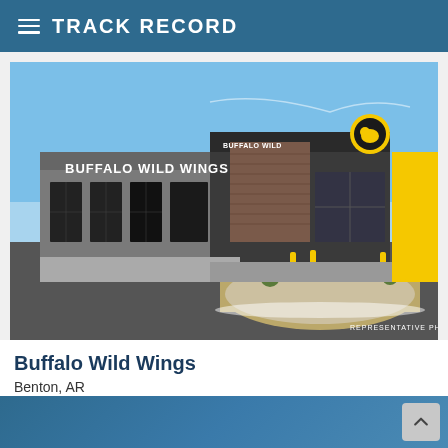TRACK RECORD
[Figure (photo): Exterior photo of a Buffalo Wild Wings restaurant building with dark grey facade, large windows, yellow accent elements, and Buffalo Wild Wings signage. Parking lot in foreground with landscaped island. Label reads REPRESENTATIVE PHOTO.]
REPRESENTATIVE PHOTO
Buffalo Wild Wings
Benton, AR